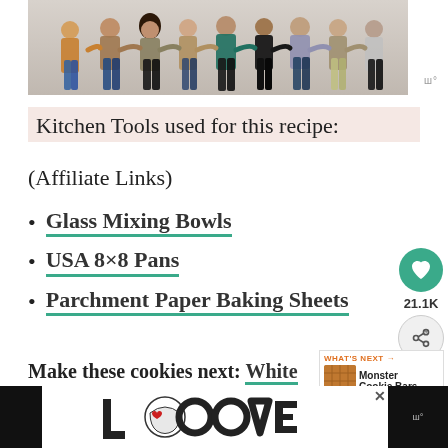[Figure (photo): Group of people standing with arms around each other, seen from behind, on a white background.]
Kitchen Tools used for this recipe:
(Affiliate Links)
Glass Mixing Bowls
USA 8×8 Pans
Parchment Paper Baking Sheets
Make these cookies next: White Chocolate Macadamia Nut Cookies
[Figure (photo): WHAT'S NEXT → Monster Cookie Bars thumbnail image]
[Figure (illustration): LOOVE advertisement banner at the bottom of the page]